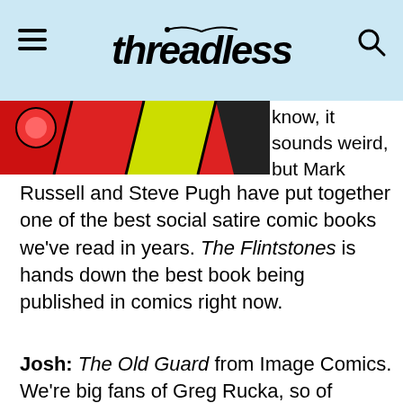Threadless
[Figure (photo): Cropped comic book art showing colorful characters in red, yellow, and green tones]
know, it sounds weird, but Mark Russell and Steve Pugh have put together one of the best social satire comic books we've read in years. The Flintstones is hands down the best book being published in comics right now.
Josh: The Old Guard from Image Comics. We're big fans of Greg Rucka, so of course we checked out his new book with artist Leandro Fernandez, and it's paid off with every issue.
Conor: Black Hammer from Dark Horse comics. Jeff Lemire is bringing all of the